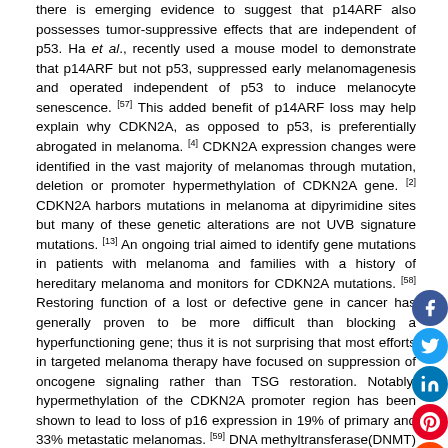there is emerging evidence to suggest that p14ARF also possesses tumor-suppressive effects that are independent of p53. Ha et al., recently used a mouse model to demonstrate that p14ARF but not p53, suppressed early melanomagenesis and operated independent of p53 to induce melanocyte senescence. [57] This added benefit of p14ARF loss may help explain why CDKN2A, as opposed to p53, is preferentially abrogated in melanoma. [4] CDKN2A expression changes were identified in the vast majority of melanomas through mutation, deletion or promoter hypermethylation of CDKN2A gene. [2] CDKN2A harbors mutations in melanoma at dipyrimidine sites but many of these genetic alterations are not UVB signature mutations. [13] An ongoing trial aimed to identify gene mutations in patients with melanoma and families with a history of hereditary melanoma and monitors for CDKN2A mutations. [58] Restoring function of a lost or defective gene in cancer has generally proven to be more difficult than blocking a hyperfunctioning gene; thus it is not surprising that most efforts in targeted melanoma therapy have focused on suppression of oncogene signaling rather than TSG restoration. Notably, hypermethylation of the CDKN2A promoter region has been shown to lead to loss of p16 expression in 19% of primary and 33% metastatic melanomas. [59] DNA methyltransferase(DNMT) inhibitors namely 5 – azacytidine, 5 -aza- 2ʹ-deoxycytidine(decitabine), fazarabine, and dihydro- 5 -azacytidine have been extensively studied. These agents when phosphorylated are incorporated into DNA and become covalently linked to DNMT, thereby preventing methylation. DNMT inhibitors have shown some promise in melanoma. [4] Promoter methylation status of the DNA repair enzyme methylguanine-DNA methyltransferase (MGMT; gene map locus 10q26).